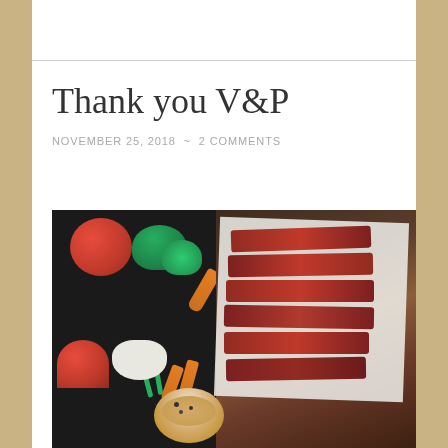Thank you V&P
NOVEMBER 25, 2018  ~  2 COMMENTS
[Figure (photo): Overhead dark-background food photo showing sliced grilled steak on white parchment paper on the right, and assorted vegetables (tomatoes, broccoli, green beans, carrots, cauliflower) on the left, with a bowl of sauce at the bottom center.]